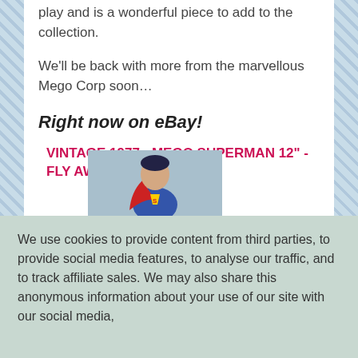play and is a wonderful piece to add to the collection.
We'll be back with more from the marvellous Mego Corp soon…
Right now on eBay!
VINTAGE 1977 - MEGO SUPERMAN 12" - FLY AWAY ACTION -
[Figure (photo): Photo of a Mego Superman 12-inch action figure in Superman costume with cape, against a light blue background]
We use cookies to provide content from third parties, to provide social media features, to analyse our traffic, and to track affiliate sales. We may also share this anonymous information about your use of our site with our social media,